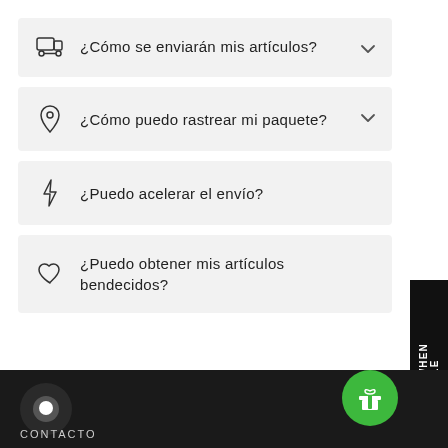¿Cómo se enviarán mis artículos?
¿Cómo puedo rastrear mi paquete?
¿Puedo acelerar el envío?
¿Puedo obtener mis artículos bendecidos?
NOTIFY WHEN AVAILABLE
CONTACTO